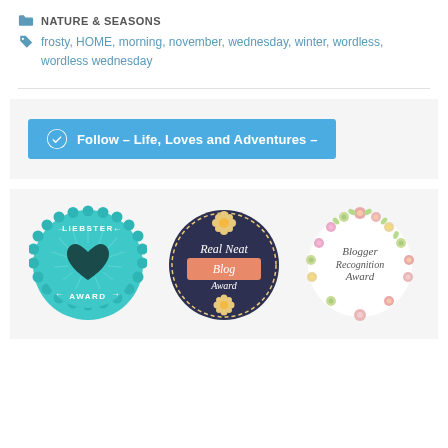NATURE & SEASONS
frosty, HOME, morning, november, wednesday, winter, wordless, wordless wednesday
[Figure (infographic): WordPress Follow button: Follow – Life, Loves and Adventures –]
[Figure (illustration): Three blog award badges: Liebster Award (teal badge with heart), Real Neat Blog Award (dark circular badge), Blogger Recognition Award (floral wreath badge)]